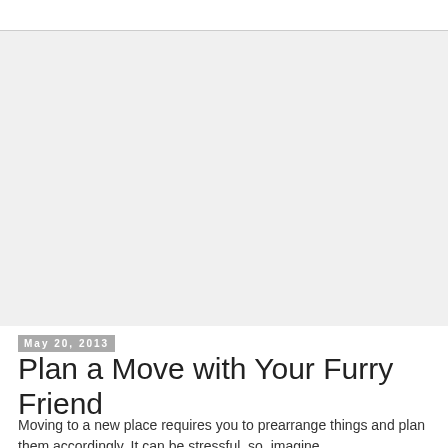[Figure (photo): Large image area placeholder, light gray background]
May 20, 2013
Plan a Move with Your Furry Friend
Moving to a new place requires you to prearrange things and plan them accordingly. It can be stressful, so, imagine